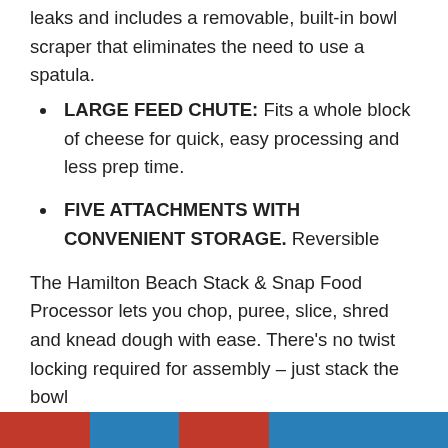leaks and includes a removable, built-in bowl scraper that eliminates the need to use a spatula.
LARGE FEED CHUTE: Fits a whole block of cheese for quick, easy processing and less prep time.
FIVE ATTACHMENTS WITH CONVENIENT STORAGE. Reversible shredding disc, adjustable slicing disc, stainless steel s-blade, dough blade and bowl scraper included. Case included for attachments can be stored multiple ways.
The Hamilton Beach Stack & Snap Food Processor lets you chop, puree, slice, shred and knead dough with ease. There's no twist locking required for assembly – just stack the bowl